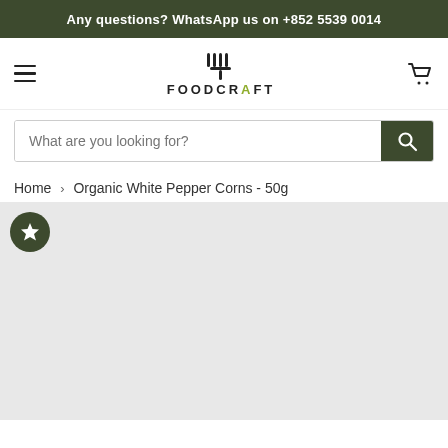Any questions? WhatsApp us on +852 5539 0014
[Figure (logo): Foodcraft logo with fork/knife icon and text FOODCRAFT]
What are you looking for?
Home > Organic White Pepper Corns - 50g
[Figure (photo): Product image area for Organic White Pepper Corns - 50g, light grey placeholder with star/favourite badge]